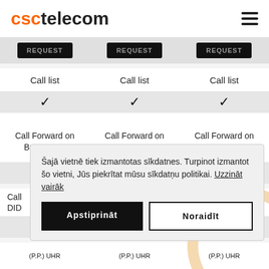csctelecom
Request | Request | Request
Call list | Call list | Call list
✓ | ✓ | ✓
Call Forward on Busy or No | Call Forward on Busy or No | Call Forward on Busy or No
Call DID
Šajā vietnē tiek izmantotas sīkdatnes. Turpinot izmantot šo vietni, Jūs piekrītat mūsu sīkdatņu politikai. Uzzināt vairāk
Apstiprināt
Noraidīt